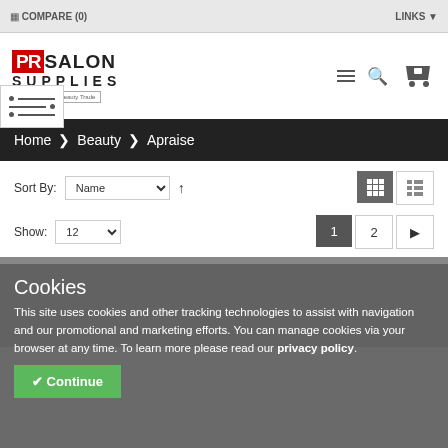COMPARE (0)   LINKS
[Figure (logo): PR Salon Supplies logo with tagline 'rs to the Hair & Beauty Trade']
Home > Beauty > Apraise
Sort By: Name ↑
Show: 12   1 2 ▶
Cookies
This site uses cookies and other tracking technologies to assist with navigation and our promotional and marketing efforts. You can manage cookies via your browser at any time. To learn more please read our privacy policy.
✔ Continue